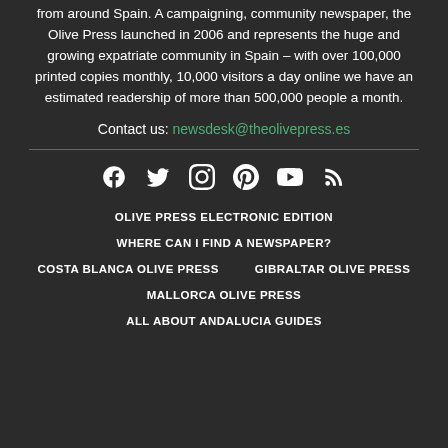Alicante, Murcia and Mallorca, plus national news from around Spain. A campaigning, community newspaper, the Olive Press launched in 2006 and represents the huge and growing expatriate community in Spain – with over 100,000 printed copies monthly, 10,000 visitors a day online we have an estimated readership of more than 500,000 people a month.
Contact us: newsdesk@theolivepress.es
[Figure (infographic): Row of social media icons: Facebook, Twitter, Instagram, Pinterest, YouTube, RSS]
OLIVE PRESS ELECTRONIC EDITION
WHERE CAN I FIND A NEWSPAPER?
COSTA BLANCA OLIVE PRESS
GIBRALTAR OLIVE PRESS
MALLORCA OLIVE PRESS
ALL ABOUT ANDALUCIA GUIDES